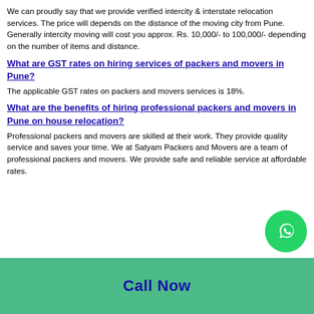We can proudly say that we provide verified intercity & interstate relocation services. The price will depends on the distance of the moving city from Pune. Generally intercity moving will cost you approx. Rs. 10,000/- to 100,000/- depending on the number of items and distance.
What are GST rates on hiring services of packers and movers in Pune?
The applicable GST rates on packers and movers services is 18%.
What are the benefits of hiring professional packers and movers in Pune on house relocation?
Professional packers and movers are skilled at their work. They provide quality service and saves your time. We at Satyam Packers and Movers are a team of professional packers and movers. We provide safe and reliable service at affordable rates.
Call Now